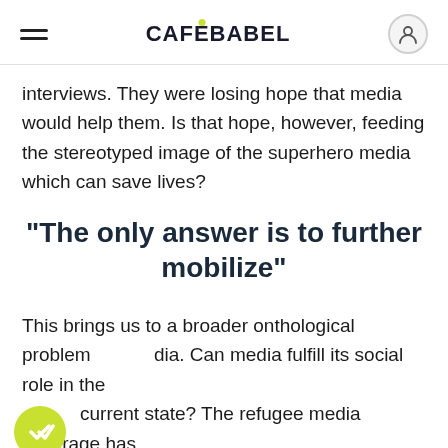CAFEBABEL
interviews. They were losing hope that media would help them. Is that hope, however, feeding the stereotyped image of the superhero media which can save lives?
"The only answer is to further mobilize"
This brings us to a broader onthological problem of media. Can media fulfill its social role in the current state? The refugee media coverage has